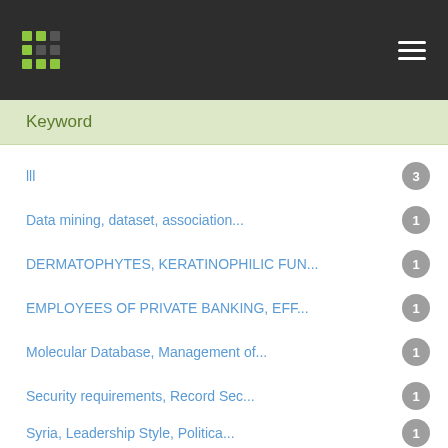Navigation header with logo and menu icon
Keyword
lll — 3
Data mining, dataset, association... — 1
DERMATOPHYTES, KERATINOPHILIC FUN... — 1
EMPLOYEES OF PRIVATE BANKING, EFF... — 1
Molecular Database, Management of... — 1
Security requirements, Record Sec... — 1
Syria, Leadership Style, Politica... — 1
WHITE COLLAR CRIME, CYBER CRIME I... — 1